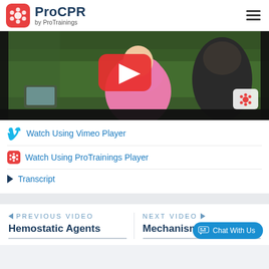ProCPR by ProTrainings
[Figure (screenshot): Video thumbnail showing a baby in a pink outfit outdoors on grass, with a YouTube-style play button overlay and ProCPR logo watermark in bottom right]
Watch Using Vimeo Player
Watch Using ProTrainings Player
Transcript
◄ PREVIOUS VIDEO
Hemostatic Agents
NEXT VIDEO ►
Mechanism of Injury